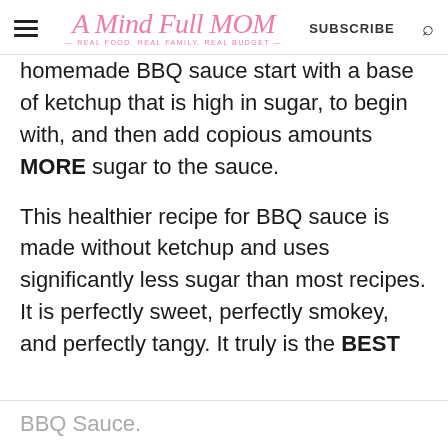A Mind Full Mom — REAL FOOD. REAL FAMILY. REAL BUDGET. | SUBSCRIBE
homemade BBQ sauce start with a base of ketchup that is high in sugar, to begin with, and then add copious amounts MORE sugar to the sauce.

This healthier recipe for BBQ sauce is made without ketchup and uses significantly less sugar than most recipes. It is perfectly sweet, perfectly smokey, and perfectly tangy. It truly is the BEST
BBQ Sauce.